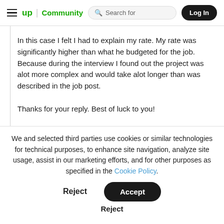up | Community   Search for   Log In
In this case I felt I had to explain my rate. My rate was significantly higher than what he budgeted for the job. Because during the interview I found out the project was alot more complex and would take alot longer than was described in the job post.

Thanks for your reply. Best of luck to you!
We and selected third parties use cookies or similar technologies for technical purposes, to enhance site navigation, analyze site usage, assist in our marketing efforts, and for other purposes as specified in the Cookie Policy.
Accept
Reject